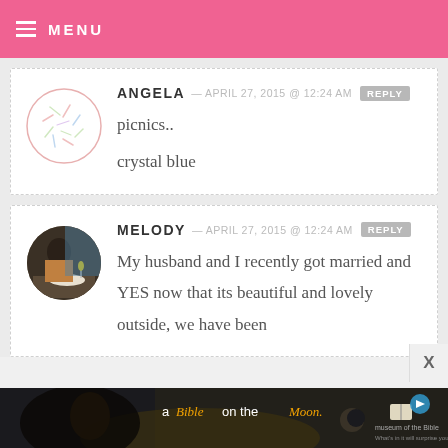MENU
ANGELA — APRIL 27, 2015 @ 12:24 AM  REPLY
picnics..
crystal blue
MELODY — APRIL 27, 2015 @ 12:24 AM  REPLY
My husband and I recently got married and YES now that its beautiful and lovely outside, we have been
[Figure (photo): Advertisement banner: 'a Bible on the Moon.' with Museum of the Bible branding]